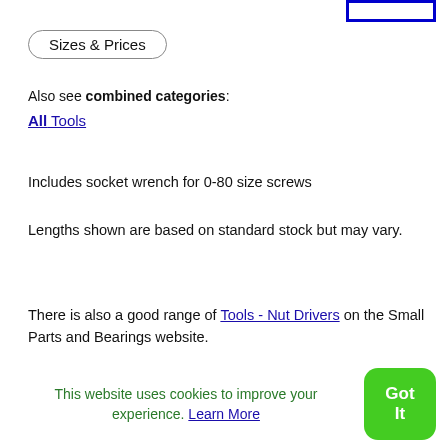[Figure (other): Blue bordered rectangle in top-right corner (likely a search or input box UI element)]
Sizes & Prices
Also see combined categories:
All Tools
Includes socket wrench for 0-80 size screws
Lengths shown are based on standard stock but may vary.
There is also a good range of Tools - Nut Drivers on the Small Parts and Bearings website.
This website uses cookies to improve your experience. Learn More